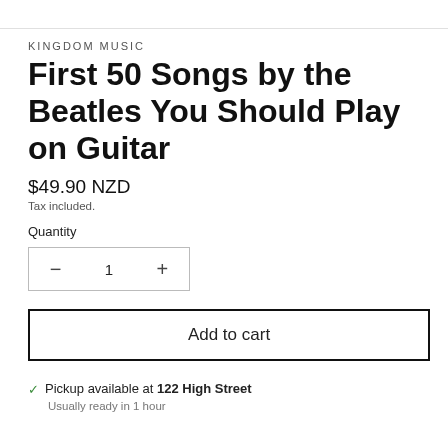KINGDOM MUSIC
First 50 Songs by the Beatles You Should Play on Guitar
$49.90 NZD
Tax included.
Quantity
— 1 +
Add to cart
✓ Pickup available at 122 High Street
Usually ready in 1 hour